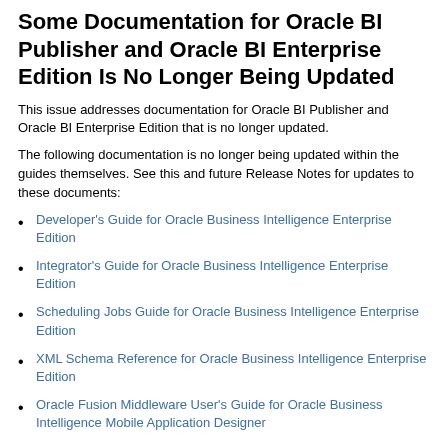Some Documentation for Oracle BI Publisher and Oracle BI Enterprise Edition Is No Longer Being Updated
This issue addresses documentation for Oracle BI Publisher and Oracle BI Enterprise Edition that is no longer updated.
The following documentation is no longer being updated within the guides themselves. See this and future Release Notes for updates to these documents:
Developer's Guide for Oracle Business Intelligence Enterprise Edition
Integrator's Guide for Oracle Business Intelligence Enterprise Edition
Scheduling Jobs Guide for Oracle Business Intelligence Enterprise Edition
XML Schema Reference for Oracle Business Intelligence Enterprise Edition
Oracle Fusion Middleware User's Guide for Oracle Business Intelligence Mobile Application Designer